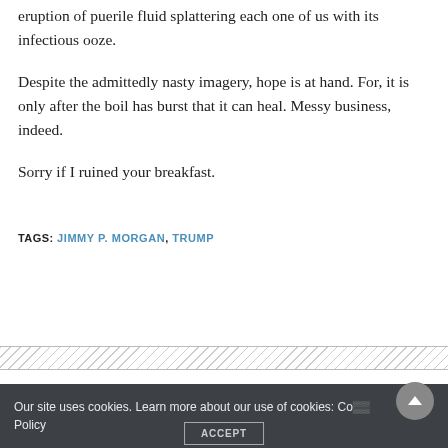eruption of puerile fluid splattering each one of us with its infectious ooze.
Despite the admittedly nasty imagery, hope is at hand. For, it is only after the boil has burst that it can heal. Messy business, indeed.
Sorry if I ruined your breakfast.
TAGS: JIMMY P. MORGAN, TRUMP
Our site uses cookies. Learn more about our use of cookies: Cookie Policy